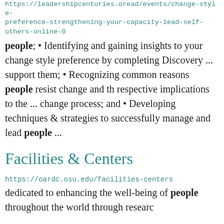https://leadershipcenturies.oread/events/change-style-preference-strengthening-your-capacity-lead-self-others-online-0
people; • Identifying and gaining insights to your change style preference by completing Discovery ... support them; • Recognizing common reasons people resist change and the respective implications to the ... change process; and • Developing techniques & strategies to successfully manage and lead people ...
Facilities & Centers
https://oardc.osu.edu/facilities-centers
dedicated to enhancing the well-being of people throughout the world through research